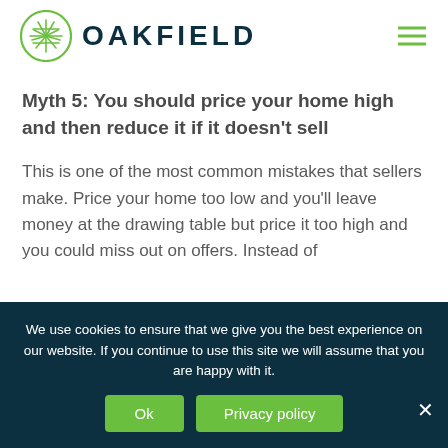[Figure (logo): Oakfield logo: green circular icon with leaf/cross pattern and OAKFIELD brand name in dark teal caps]
Myth 5: You should price your home high and then reduce it if it doesn't sell
This is one of the most common mistakes that sellers make. Price your home too low and you'll leave money at the drawing table but price it too high and you could miss out on offers. Instead of
We use cookies to ensure that we give you the best experience on our website. If you continue to use this site we will assume that you are happy with it.